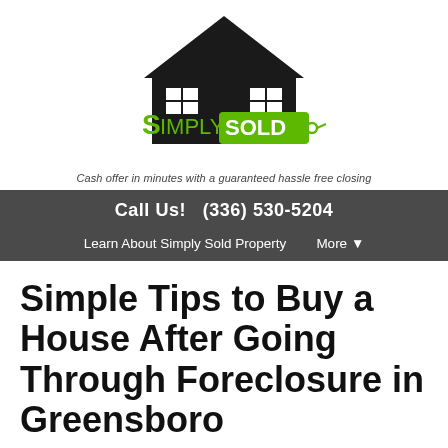[Figure (logo): Simply Sold Property logo with black house silhouette and green 'SOLD' tag]
Cash offer in minutes with a guaranteed hassle free closing
Call Us!   (336) 530-5204
Learn About Simply Sold Property    More ▾
Simple Tips to Buy a House After Going Through Foreclosure in Greensboro
February 25, 2021